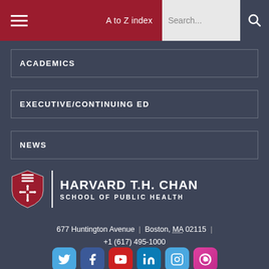A to Z index | Search...
ACADEMICS
EXECUTIVE/CONTINUING ED
NEWS
[Figure (logo): Harvard T.H. Chan School of Public Health logo with shield and text]
677 Huntington Avenue | Boston, MA 02115 | +1 (617) 495-1000
[Figure (infographic): Social media icons: Twitter, Facebook, YouTube, LinkedIn, Instagram, Podcast/iTunes]